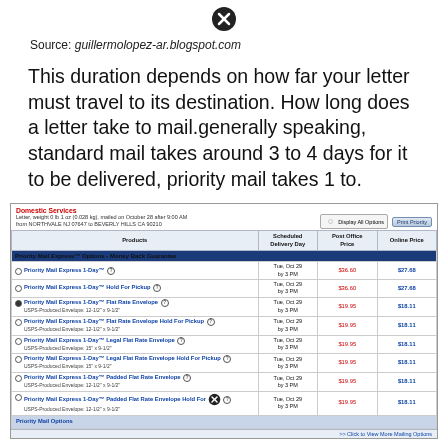[Figure (screenshot): Close button icon (X in circle) at top center of page]
Source: guillermolopez-ar.blogspot.com
This duration depends on how far your letter must travel to its destination. How long does a letter take to mail.generally speaking, standard mail takes around 3 to 4 days for it to be delivered, priority mail takes 1 to.
[Figure (screenshot): USPS Domestic Services shipping rates table showing Priority Mail Express options with scheduled delivery, post office price, and online price columns]
[Figure (screenshot): Close button icon (X in circle) at bottom center overlaying the table]